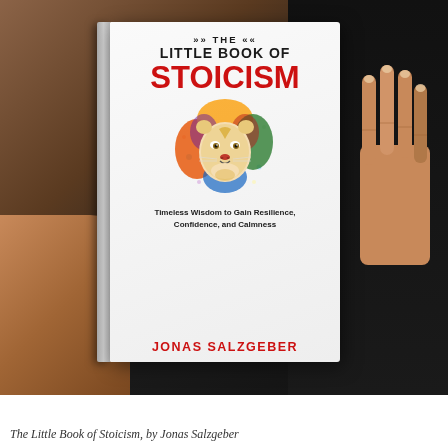[Figure (photo): A photograph of a hand holding up a book titled 'The Little Book of Stoicism' by Jonas Salzgeber. The book cover is white/light gray with 'STOICISM' in large red letters, a colorful multi-colored lion illustration in the center, and the subtitle 'Timeless Wisdom to Gain Resilience, Confidence, and Calmness'. The author name 'JONAS SALZGEBER' appears at the bottom in red. The background is dark.]
The Little Book of Stoicism, by Jonas Salzgeber